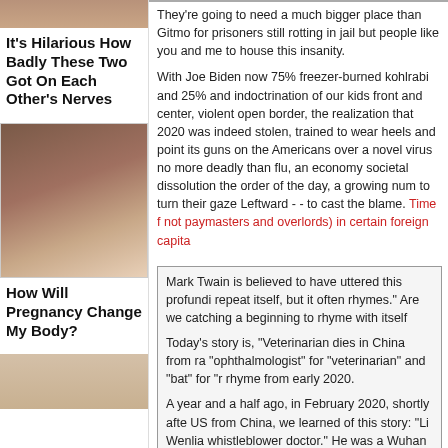[Figure (photo): Top of sidebar image, partial view of two people]
It's Hilarious How Badly These Two Got On Each Other's Nerves
[Figure (photo): Pregnant woman holding her belly]
How Will Pregnancy Change My Body?
[Figure (photo): Partial image at bottom of sidebar]
[Figure (photo): Top right gray placeholder image]
They're going to need a much bigger place than Gitmo for prisoners still rotting in jail but people like you and me to house this insanity.
With Joe Biden now 75% freezer-burned kohlrabi and 25% and indoctrination of our kids front and center, violent open border, the realization that 2020 was indeed stolen, trained to wear heels and point its guns on the Americans over a novel virus no more deadly than flu, an economy societal dissolution the order of the day, a growing num to turn their gaze Leftward - - to cast the blame. Time f not paymasters and overlords) in certain foreign capita
Mark Twain is believed to have uttered this profundi repeat itself, but it often rhymes." Are we catching a beginning to rhyme with itself
Today's story is, "Veterinarian dies in China from ra "ophthalmologist" for "veterinarian" and "bat" for "r rhyme from early 2020.
A year and a half ago, in February 2020, shortly afte US from China, we learned of this story: "Li Wenlia whistleblower doctor." He was a Wuhan hospital op sent a message to fellow doctors through a chat grou of a virus causing symptoms resembling the SARS v
Four days later he was summoned to the Public Sec